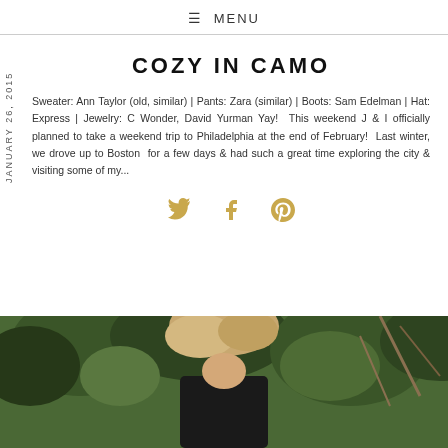☰ MENU
JANUARY 26, 2015
COZY IN CAMO
Sweater: Ann Taylor (old, similar) | Pants: Zara (similar) | Boots: Sam Edelman | Hat: Express | Jewelry: C Wonder, David Yurman Yay!  This weekend J & I officially planned to take a weekend trip to Philadelphia at the end of February!  Last winter, we drove up to Boston  for a few days & had such a great time exploring the city & visiting some of my...
[Figure (other): Social sharing icons: Twitter bird, Facebook f, Pinterest P in gold/yellow color]
[Figure (photo): Outdoor photo of a person with blonde hair among trees and shrubs, bottom portion of the page]